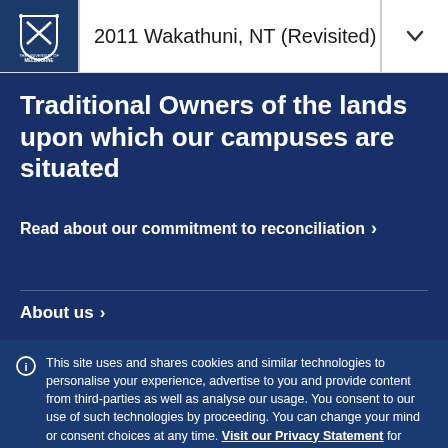2011 Wakathuni, NT (Revisited)
Traditional Owners of the lands upon which our campuses are situated
Read about our commitment to reconciliation >
About us >
This site uses and shares cookies and similar technologies to personalise your experience, advertise to you and provide content from third-parties as well as analyse our usage. You consent to our use of such technologies by proceeding. You can change your mind or consent choices at any time. Visit our Privacy Statement for further information.
Accept cookies
Cookie Preferences